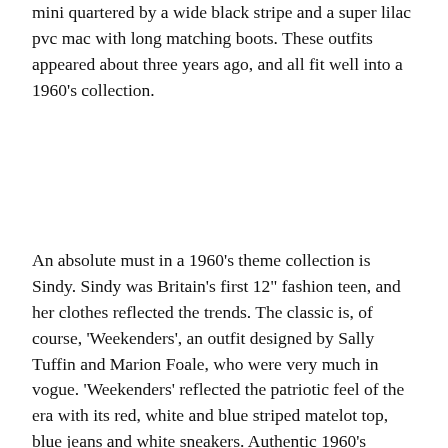mini quartered by a wide black stripe and a super lilac pvc mac with long matching boots. These outfits appeared about three years ago, and all fit well into a 1960's collection.
An absolute must in a 1960's theme collection is Sindy. Sindy was Britain's first 12" fashion teen, and her clothes reflected the trends. The classic is, of course, 'Weekenders', an outfit designed by Sally Tuffin and Marion Foale, who were very much in vogue. 'Weekenders' reflected the patriotic feel of the era with its red, white and blue striped matelot top, blue jeans and white sneakers. Authentic 1960's Sindys are still obtainable at doll fairs or on internet auctions, or you could go for the stunning porcelain replica issued by Danbury Mint in 2006. Just like the original Sindy, she wears a 'Weekenders' outfit. Another option is the British Airways' range of retro cabin crew Sindys: one wears